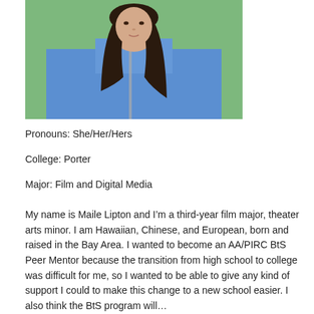[Figure (photo): A young woman with long dark hair wearing a blue zip-up fleece jacket, photographed outdoors against a blurred green background.]
Pronouns: She/Her/Hers
College: Porter
Major: Film and Digital Media
My name is Maile Lipton and I’m a third-year film major, theater arts minor. I am Hawaiian, Chinese, and European, born and raised in the Bay Area. I wanted to become an AA/PIRC BtS Peer Mentor because the transition from high school to college was difficult for me, so I wanted to be able to give any kind of support I could to make this change to a new school easier. I also think the BtS program will…